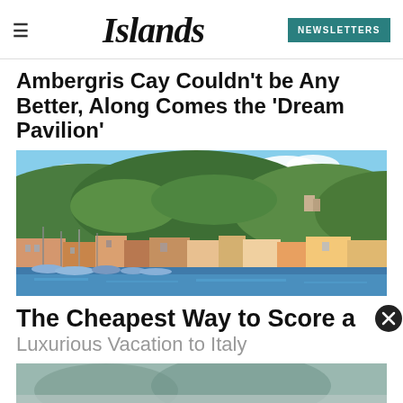Islands — NEWSLETTERS
Ambergris Cay Couldn't be Any Better, Along Comes the 'Dream Pavilion'
[Figure (photo): Colorful coastal Italian town with sailboats moored in a harbor, green hills in the background, blue sky with clouds.]
The Cheapest Way to Score a Luxurious Vacation to Italy
[Figure (photo): Partially visible image at the bottom of the page.]